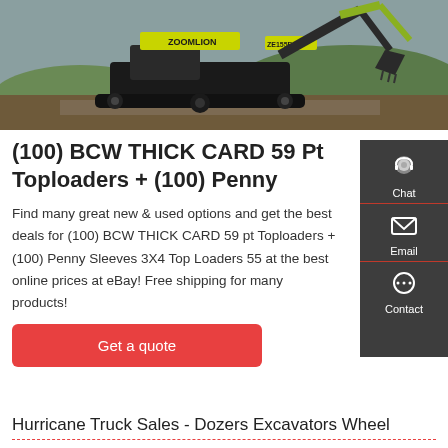[Figure (photo): Zoomlion ZE155E-10 excavator on a construction site with yellow construction equipment in background]
(100) BCW THICK CARD 59 Pt Toploaders + (100) Penny
Find many great new & used options and get the best deals for (100) BCW THICK CARD 59 pt Toploaders + (100) Penny Sleeves 3X4 Top Loaders 55 at the best online prices at eBay! Free shipping for many products!
Get a quote
Hurricane Truck Sales - Dozers Excavators Wheel